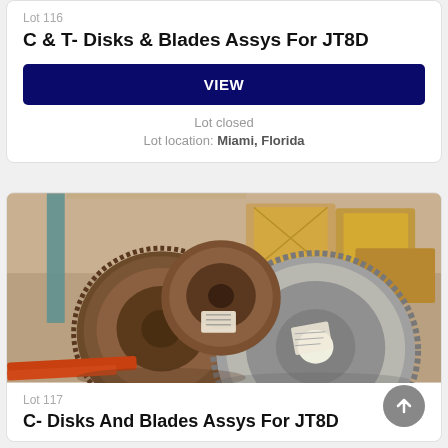Lot 116
C & T- Disks & Blades Assys For JT8D
VIEW
Lot closed
Lot location: Miami, Florida
[Figure (photo): Warehouse photo showing multiple large turbine disks and blade assemblies for JT8D aircraft engine, stored on wooden pallets in a warehouse setting with wooden crates visible in background]
Lot 117
C- Disks And Blades Assys For JT8D